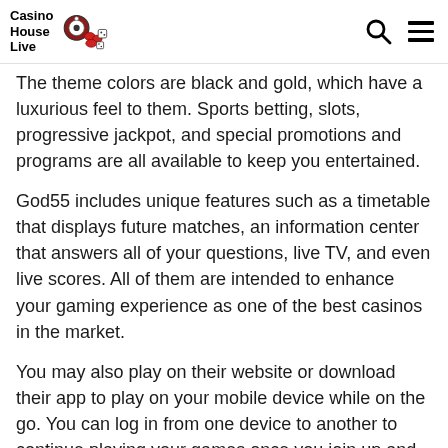Casino House Live
The theme colors are black and gold, which have a luxurious feel to them. Sports betting, slots, progressive jackpot, and special promotions and programs are all available to keep you entertained.
God55 includes unique features such as a timetable that displays future matches, an information center that answers all of your questions, live TV, and even live scores. All of them are intended to enhance your gaming experience as one of the best casinos in the market.
You may also play on their website or download their app to play on your mobile device while on the go. You can log in from one device to another to continue playing your games once you join up and create an account.